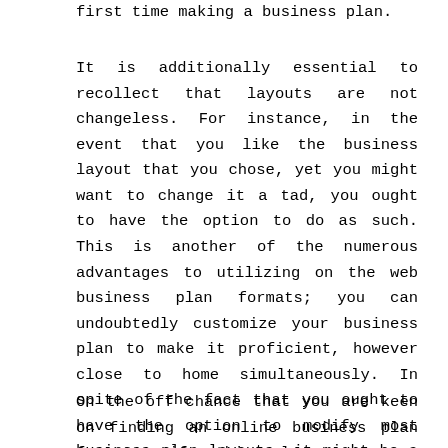first time making a business plan.
It is additionally essential to recollect that layouts are not changeless. For instance, in the event that you like the business layout that you chose, yet you might want to change it a tad, you ought to have the option to do as such. This is another of the numerous advantages to utilizing on the web business plan formats; you can undoubtedly customize your business plan to make it proficient, however close to home simultaneously. In spite of the fact that you ought to have the option to modify most business plan layouts, it might be a smart thought to ensure before continuing any further.
On the off chance that you are keen on finding an online business plan format or if nothing else